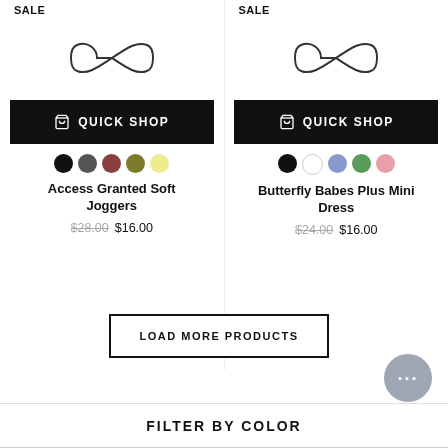SALE
SALE
[Figure (illustration): Infinity/loading symbol on left product card]
[Figure (illustration): Infinity/loading symbol on right product card]
QUICK SHOP
QUICK SHOP
Access Granted Soft Joggers
$28.00 $16.00
Butterfly Babes Plus Mini Dress
$24.00 $16.00
LOAD MORE PRODUCTS
FILTER BY COLOR